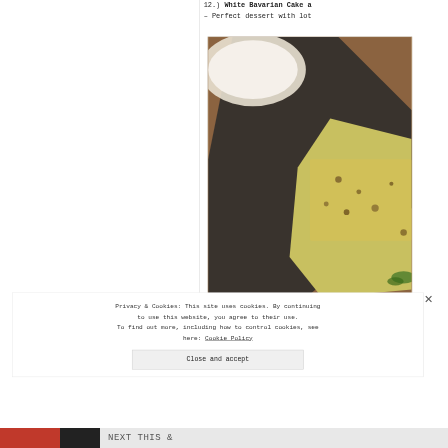12.) White Bavarian Cake a
- Perfect dessert with lot
[Figure (photo): Photo of a white Bavarian cake slice with yellow topping and garnishes on a dark background with a plate in the upper left]
Privacy & Cookies: This site uses cookies. By continuing to use this website, you agree to their use. To find out more, including how to control cookies, see here: Cookie Policy
Close and accept
NEXT THIS &